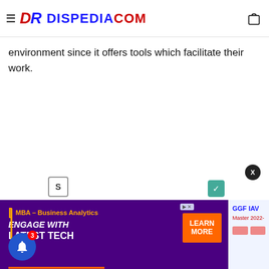DR DISPEDIA.COM
environment since it offers tools which facilitate their work.
[Figure (infographic): Advertisement banner for High Point University MBA Business Analytics program. Purple background with text: MBA – Business Analytics, ENGAGE WITH LATEST TECH, LEARN MORE button in orange, High Point University in white text at bottom.]